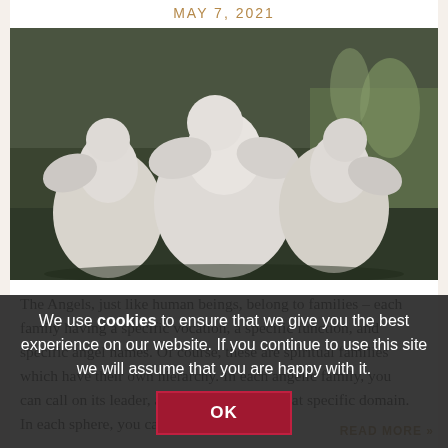MAY 7, 2021
[Figure (photo): Three white cherub/angel statues sitting together outdoors among dark foliage]
The Angels, just like human beings, belong to families – each family having a specific vocation, a specific function, and specific angel names. Of course, these are spiritual families which have their own hierarchy. In each angelic family, you can call on its leader, and can help you in that specific domain. In each sphere, you can also call on [...] READ MORE »
We use cookies to ensure that we give you the best experience on our website. If you continue to use this site we will assume that you are happy with it.